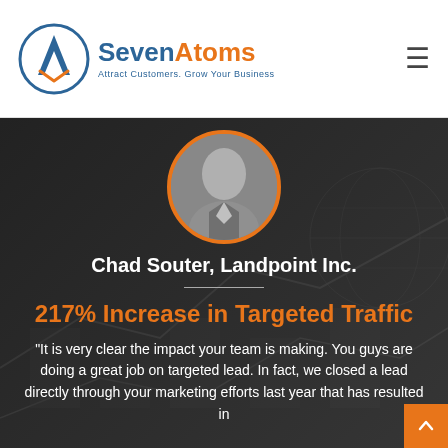[Figure (logo): SevenAtoms logo with circular A icon and tagline 'Attract Customers. Grow Your Business']
[Figure (photo): Circular portrait photo of Chad Souter with orange border]
Chad Souter, Landpoint Inc.
217% Increase in Targeted Traffic
“It is very clear the impact your team is making. You guys are doing a great job on targeted lead. In fact, we closed a lead directly through your marketing efforts last year that has resulted in